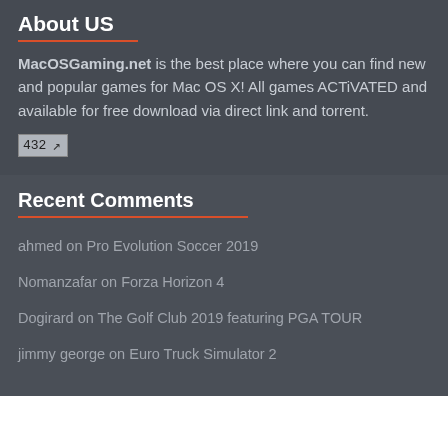About US
MacOSGaming.net is the best place where you can find new and popular games for Mac OS X! All games ACTiVATED and available for free download via direct link and torrent.
[Figure (other): A counter widget showing the number 432 with an arrow icon]
Recent Comments
ahmed on Pro Evolution Soccer 2019
Nomanzafar on Forza Horizon 4
Dogirard on The Golf Club 2019 featuring PGA TOUR
jimmy george on Euro Truck Simulator 2